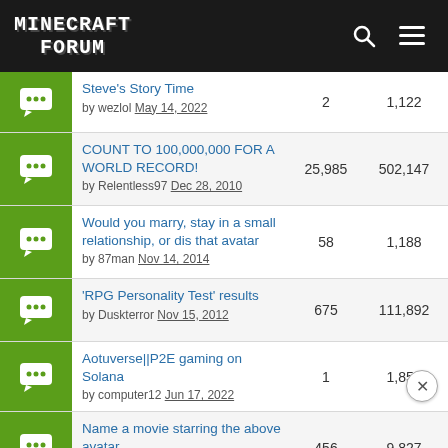MINECRAFT FORUM
Steve's Story Time by wezlol May 14, 2022 | 2 replies | 1,122 views
COUNT TO 100,000,000 FOR A WORLD RECORD! by Relentless97 Dec 28, 2010 | 25,985 replies | 502,147 views
Would you marry, stay in a small relationship, or dis that avatar by 87man Nov 14, 2014 | 58 replies | 1,188 views
'RPG Personality Test' results by Duskterror Nov 15, 2012 | 675 replies | 111,892 views
Aotuverse||P2E gaming on Solana by computer12 Jun 17, 2022 | 1 reply | 1,852 views
Name a movie starring the above avatar by ThePiDay Aug 17, 2015 | 456 replies | 9,827 views
Be the last poster to win! by Agjm Sep 17, 2011 | 22,299 replies | 306,212 views
Dellayer (maybe?)